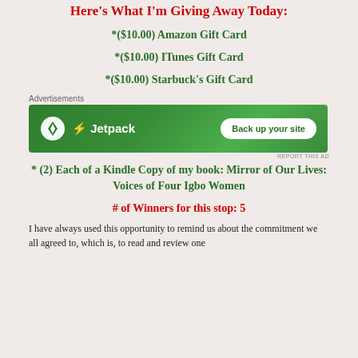Here's What I'm Giving Away Today:
*($10.00) Amazon Gift Card
*($10.00) ITunes Gift Card
*($10.00) Starbuck's Gift Card
[Figure (other): Jetpack advertisement banner with 'Back up your site' button on green background]
* (2) Each of a Kindle Copy of my book: Mirror of Our Lives: Voices of Four Igbo Women
# of Winners for this stop: 5
I have always used this opportunity to remind us about the commitment we all agreed to, which is, to read and review one